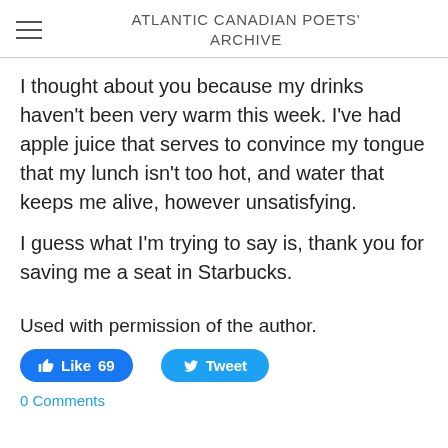ATLANTIC CANADIAN POETS' ARCHIVE
I thought about you because my drinks haven't been very warm this week. I've had apple juice that serves to convince my tongue that my lunch isn't too hot, and water that keeps me alive, however unsatisfying.

I guess what I'm trying to say is, thank you for saving me a seat in Starbucks.
Used with permission of the author.
[Figure (other): Facebook Like button showing 69 likes and Twitter Tweet button]
0 Comments